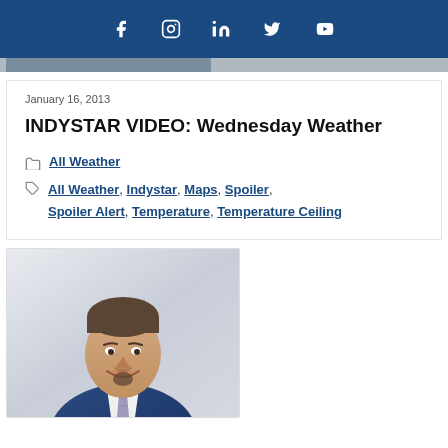Social media icons: Facebook, Instagram, LinkedIn, Twitter, YouTube
January 16, 2013
INDYSTAR VIDEO: Wednesday Weather
All Weather
All Weather, Indystar, Maps, Spoiler, Spoiler Alert, Temperature, Temperature Ceiling
[Figure (photo): Professional headshot of a male news anchor/meteorologist wearing a blue suit and patterned tie, smiling at the camera]